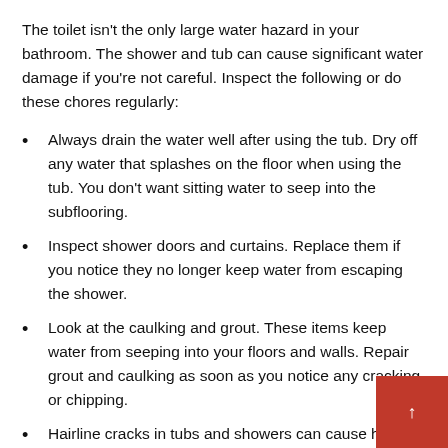The toilet isn't the only large water hazard in your bathroom. The shower and tub can cause significant water damage if you're not careful. Inspect the following or do these chores regularly:
Always drain the water well after using the tub. Dry off any water that splashes on the floor when using the tub. You don't want sitting water to seep into the subflooring.
Inspect shower doors and curtains. Replace them if you notice they no longer keep water from escaping the shower.
Look at the caulking and grout. These items keep water from seeping into your floors and walls. Repair grout and caulking as soon as you notice any cracking or chipping.
Hairline cracks in tubs and showers can cause huge water damage problems over time. Replace the cracked tub or shower to avoid those issues.
Other Quick Ti...